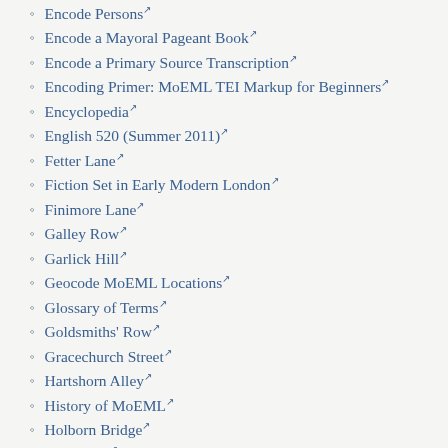Encode Persons↗
Encode a Mayoral Pageant Book↗
Encode a Primary Source Transcription↗
Encoding Primer: MoEML TEI Markup for Beginners↗
Encyclopedia↗
English 520 (Summer 2011)↗
Fetter Lane↗
Fiction Set in Early Modern London↗
Finimore Lane↗
Galley Row↗
Garlick Hill↗
Geocode MoEML Locations↗
Glossary of Terms↗
Goldsmiths' Row↗
Gracechurch Street↗
Hartshorn Alley↗
History of MoEML↗
Holborn Bridge↗
Hyde Park↗
Introducing the First Digital Gazetteer of Early Modern London!↗